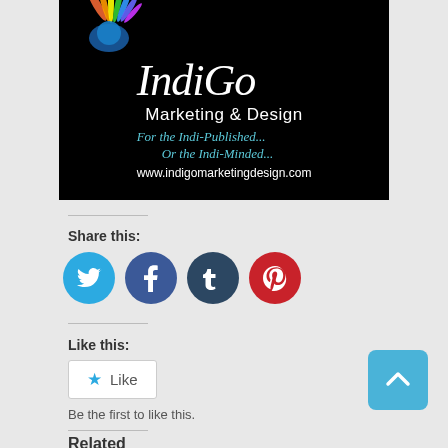[Figure (logo): IndiGo Marketing & Design logo on black background with peacock feather motif, taglines 'For the Indi-Published... Or the Indi-Minded...' and URL www.indigomarketingdesign.com]
Share this:
[Figure (infographic): Row of four social media icon buttons: Twitter (blue), Facebook (dark blue), Tumblr (dark teal), Pinterest (red)]
Like this:
[Figure (infographic): Like button widget with star icon and 'Like' text]
Be the first to like this.
Related